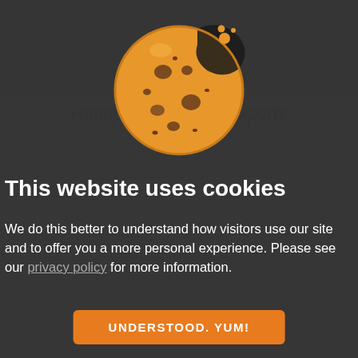[Figure (illustration): Cookie consent modal overlay on a daycare website. Shows a cartoon bitten cookie image at the top center, bold title text, body text about cookies and privacy policy link, and an orange 'UNDERSTOOD. YUM!' button.]
This website uses cookies
We do this better to understand how visitors use our site and to offer you a more personal experience. Please see our privacy policy for more information.
UNDERSTOOD. YUM!